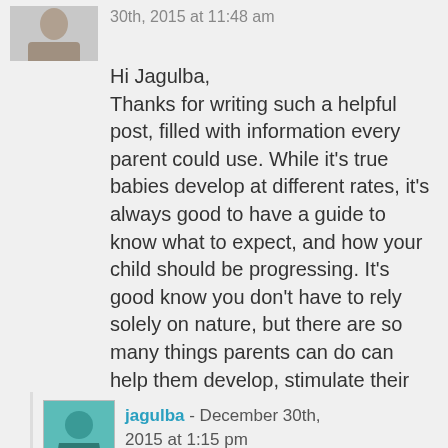30th, 2015 at 11:48 am
Hi Jagulba,
Thanks for writing such a helpful post, filled with information every parent could use. While it's true babies develop at different rates, it's always good to have a guide to know what to expect, and how your child should be progressing. It's good know you don't have to rely solely on nature, but there are so many things parents can do can help them develop, stimulate their senses and teach them.
Reply
jagulba - December 30th, 2015 at 1:15 pm